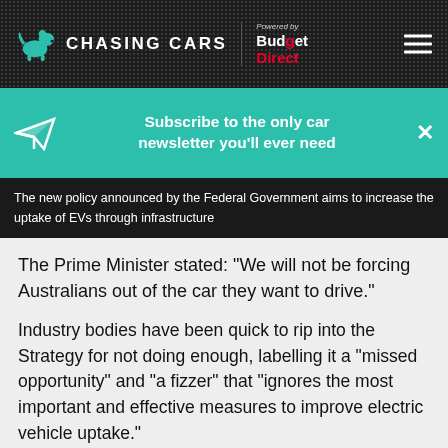CHASING CARS — Powered by Budget Direct
Subscribe to the only car newsletter you'll ever need
The new policy announced by the Federal Government aims to increase the uptake of EVs through infrastructure
The Prime Minister stated: “We will not be forcing Australians out of the car they want to drive.”
Industry bodies have been quick to rip into the Strategy for not doing enough, labelling it a “missed opportunity” and “a fizzer” that “ignores the most important and effective measures to improve electric vehicle uptake.”